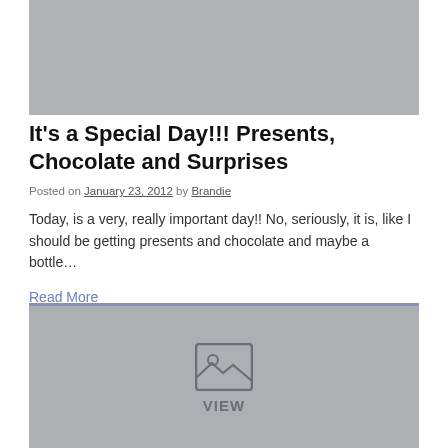[Figure (photo): Gray placeholder image at top of blog post]
It's a Special Day!!! Presents, Chocolate and Surprises
Posted on January 23, 2012 by Brandie
Today, is a very, really important day!! No, seriously, it is, like I should be getting presents and chocolate and maybe a bottle…
Read More
[Figure (photo): Gray placeholder image with VIEW label and image icon at bottom of page]